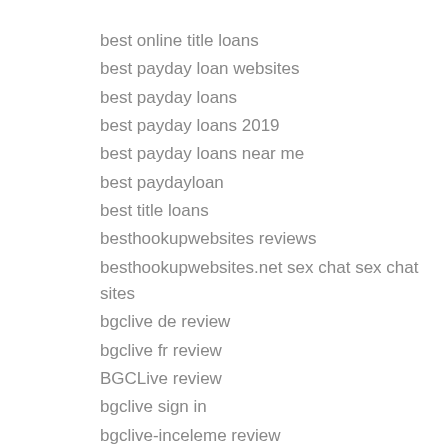best online title loans
best payday loan websites
best payday loans
best payday loans 2019
best payday loans near me
best paydayloan
best title loans
besthookupwebsites reviews
besthookupwebsites.net sex chat sex chat sites
bgclive de review
bgclive fr review
BGCLive review
bgclive sign in
bgclive-inceleme review